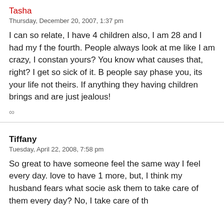Tasha
Thursday, December 20, 2007, 1:37 pm
I can so relate, I have 4 children also, I am 28 and I had my f the fourth. People always look at me like I am crazy, I constan yours? You know what causes that, right? I get so sick of it. B people say phase you, its your life not theirs. If anything they having children brings and are just jealous!
∞
Tiffany
Tuesday, April 22, 2008, 7:58 pm
So great to have someone feel the same way I feel every day. love to have 1 more, but, I think my husband fears what socie ask them to take care of them every day? No, I take care of th